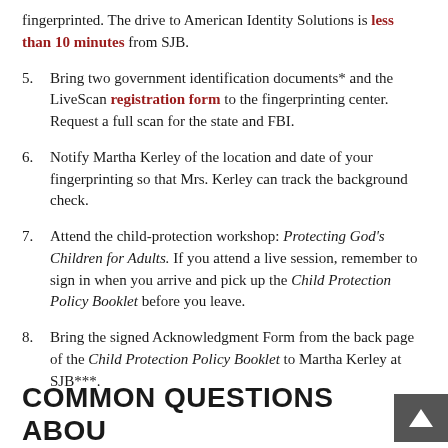fingerprinted. The drive to American Identity Solutions is less than 10 minutes from SJB.
5. Bring two government identification documents* and the LiveScan registration form to the fingerprinting center. Request a full scan for the state and FBI.
6. Notify Martha Kerley of the location and date of your fingerprinting so that Mrs. Kerley can track the background check.
7. Attend the child-protection workshop: Protecting God's Children for Adults. If you attend a live session, remember to sign in when you arrive and pick up the Child Protection Policy Booklet before you leave.
8. Bring the signed Acknowledgment Form from the back page of the Child Protection Policy Booklet to Martha Kerley at SJB***.
COMMON QUESTIONS ABOU